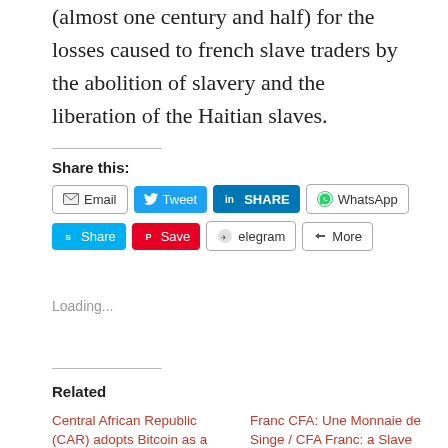(almost one century and half) for the losses caused to french slave traders by the abolition of slavery and the liberation of the Haitian slaves.
Share this:
Loading...
Related
Central African Republic (CAR) adopts Bitcoin as a National Currency
April 29, 2022
Franc CFA: Une Monnaie de Singe / CFA Franc: a Slave Currency
December 11, 2011